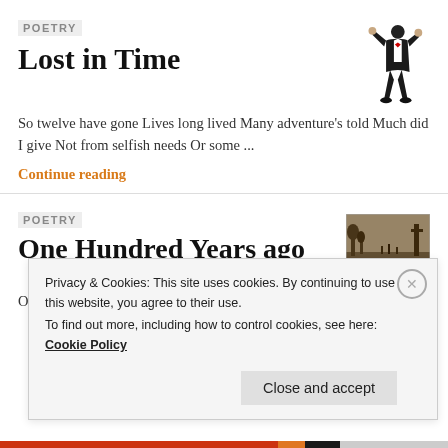POETRY
Lost in Time
[Figure (illustration): Silhouette of a person in formal attire (tuxedo), standing with legs apart, arms raised.]
So twelve have gone Lives long lived Many adventure's told Much did I give Not from selfish needs Or some ...
Continue reading
POETRY
One Hundred Years ago
[Figure (photo): Old sepia/black-and-white photograph showing a wartime landscape, possibly WWI battlefield.]
One hundred years ago war was declared As many from
Privacy & Cookies: This site uses cookies. By continuing to use this website, you agree to their use.
To find out more, including how to control cookies, see here: Cookie Policy
Close and accept